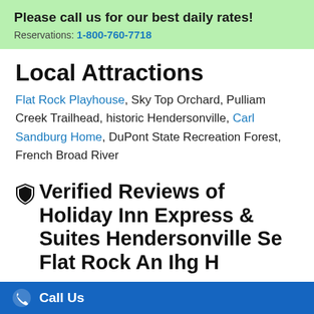Please call us for our best daily rates! Reservations: 1-800-760-7718
Local Attractions
Flat Rock Playhouse, Sky Top Orchard, Pulliam Creek Trailhead, historic Hendersonville, Carl Sandburg Home, DuPont State Recreation Forest, French Broad River
🛡 Verified Reviews of Holiday Inn Express & Suites Hendersonville Se Flat Rock An Ihg H
Below are the verified reviews from guests that we
Call Us